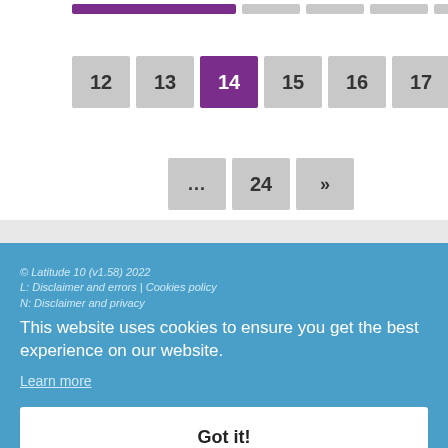[Figure (screenshot): Pagination navigation showing page buttons. Top partial row (truncated), second row shows pages 12-20 with page 14 highlighted in purple, third row shows ellipsis, 24, and next arrow.]
This website uses cookies to ensure you get the best experience on our website.
Learn more
Got it!
© Latitude 10 (v1.58) 2022
L: Disclaimer and errors | Cookies policy
N: Disclaimer and privacy